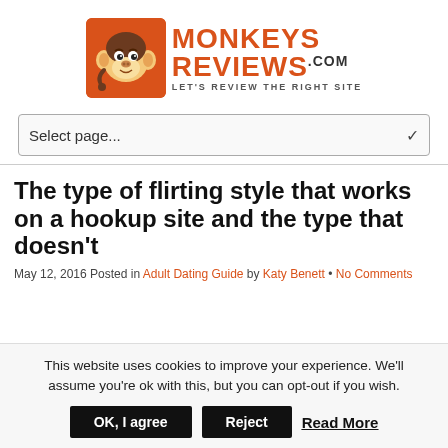[Figure (logo): MonkeysReviews.com logo with cartoon monkey on orange background and tagline LET'S REVIEW THE RIGHT SITE]
Select page...
The type of flirting style that works on a hookup site and the type that doesn't
May 12, 2016 Posted in Adult Dating Guide by Katy Benett • No Comments
This website uses cookies to improve your experience. We'll assume you're ok with this, but you can opt-out if you wish.
OK, I agree   Reject   Read More